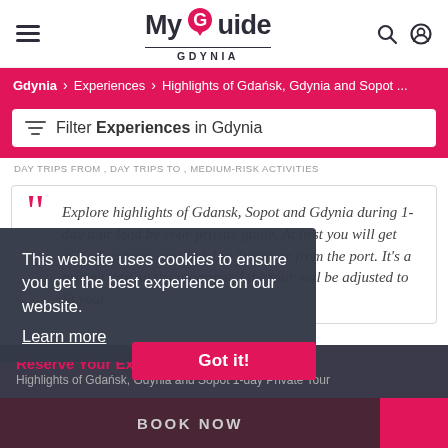My Guide GDYNIA
Gdynia > Experiences > Highlights of Gdańsk, Gdynia and Sopot ...
Filter Experiences in Gdynia
DAY TRIPS FROM , DAY TRIPS TO , MEDIUM-RISK ACTIVITIES
Explore highlights of Gdansk, Sopot and Gdynia during 1-day tour lead by your private guide. At first you will get picked up from your hotel in Tricity or from the port. It's a private tour so the program of the tour will be adjusted to fit your
This website uses cookies to ensure you get the best experience on our website. Learn more
Got it!
Reserve Your Experience
Highlights of Gdańsk, Gdynia and Sopot 1-day Private Tour
BOOK NOW